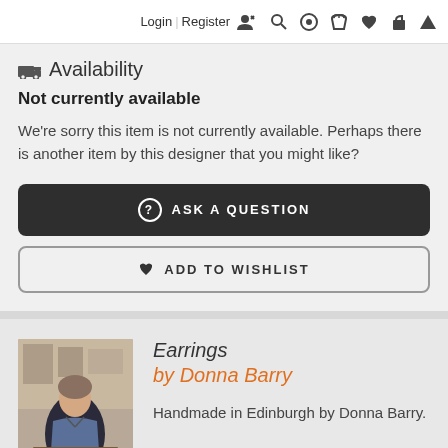Login | Register 🧑‍✏️ 🔍 👤 ♥ 🛍 ▲
🚚 Availability
Not currently available
We're sorry this item is not currently available. Perhaps there is another item by this designer that you might like?
❓ ASK A QUESTION
♥ ADD TO WISHLIST
Earrings
by Donna Barry
Handmade in Edinburgh by Donna Barry.